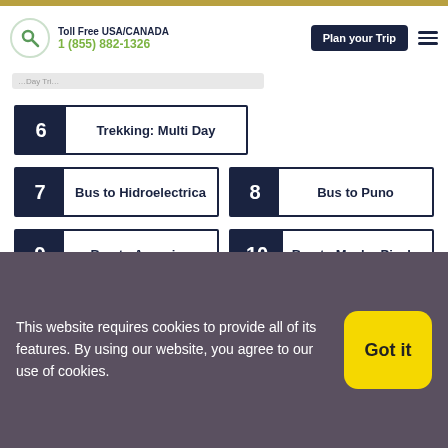Toll Free USA/CANADA 1 (855) 882-1326 | Plan your Trip
6 Trekking: Multi Day
7 Bus to Hidroelectrica
8 Bus to Puno
9 Bus to Arequipa
10 Bus to Machu Picchu
11 Tickets Machu Picchu
12 Apartament in Cusco
13 Experiences Cusco
14 Transfer
This website requires cookies to provide all of its features. By using our website, you agree to our use of cookies.